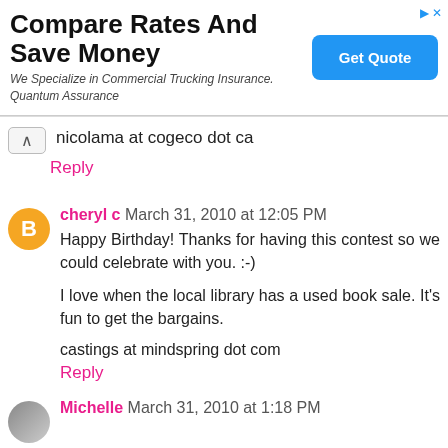[Figure (other): Advertisement banner: 'Compare Rates And Save Money' with subtitle 'We Specialize in Commercial Trucking Insurance. Quantum Assurance' and a blue 'Get Quote' button]
nicolama at cogeco dot ca
Reply
cheryl c  March 31, 2010 at 12:05 PM
Happy Birthday! Thanks for having this contest so we could celebrate with you. :-)
I love when the local library has a used book sale. It's fun to get the bargains.
castings at mindspring dot com
Reply
Michelle  March 31, 2010 at 1:18 PM